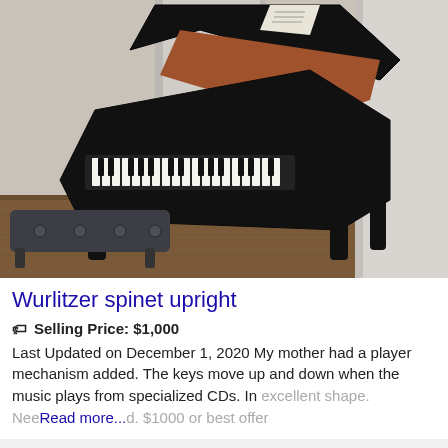[Figure (photo): Black grand piano with lid open, photographed from the side/above in a room with white walls and wooden floor. A tufted bench is visible in front.]
Wurlitzer spinet upright
Selling Price: $1,000
Last Updated on December 1, 2020 My mother had a player mechanism added. The keys move up and down when the music plays from specialized CDs. In excellent shape. Need Read more... $1000 or best offer
[Figure (photo): Partial view of a dark brown/black upright piano cabinet, bottom portion of page.]